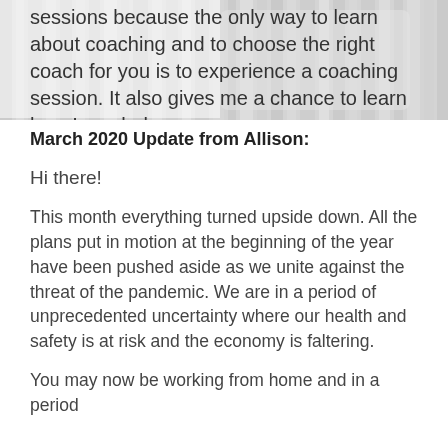[Figure (photo): Background photo of curtains or vertical blinds in light gray tones, with text overlaid on top]
sessions because the only way to learn about coaching and to choose the right coach for you is to experience a coaching session. It also gives me a chance to learn how I can help.
March 2020 Update from Allison:
Hi there!
This month everything turned upside down. All the plans put in motion at the beginning of the year have been pushed aside as we unite against the threat of the pandemic. We are in a period of unprecedented uncertainty where our health and safety is at risk and the economy is faltering.
You may now be working from home and in a period